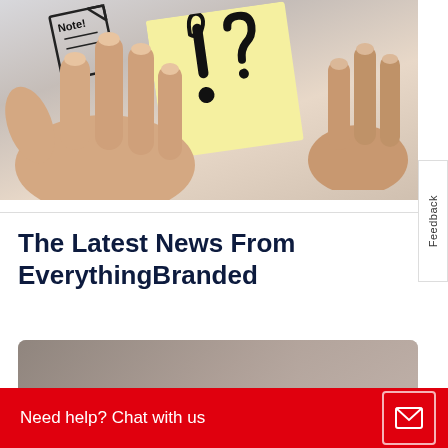[Figure (photo): Two hands holding a yellow sticky note with an exclamation and question mark drawn on it, and a small paper note with 'Note!' written on it in the background. Light grey/white background.]
The Latest News From EverythingBranded
[Figure (photo): Partial bottom strip showing hands, likely continuation of a news article image.]
Need help? Chat with us